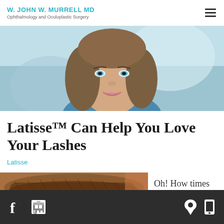W. JOHN W. MURRELL MD
Ophthalmology and Oculoplastic Surgery
[Figure (photo): Portrait photo of a smiling woman with blue eyes and brown hair, wearing a blue top, light blue/teal background]
Latisse™ Can Help You Love Your Lashes
Latisse
[Figure (photo): Close-up photo of a person's eyebrow and eye area with brown hair]
Oh! How times
Facebook | Google | Location | Mobile icons